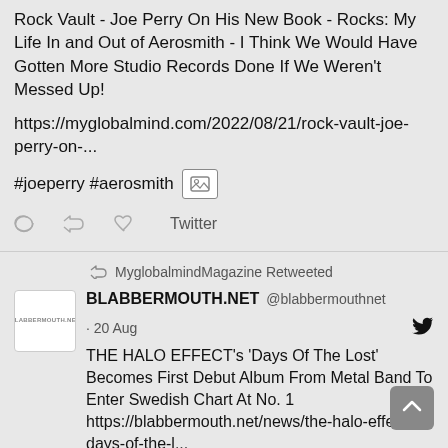Rock Vault - Joe Perry On His New Book - Rocks: My Life In and Out of Aerosmith - I Think We Would Have Gotten More Studio Records Done If We Weren't Messed Up!
https://myglobalmind.com/2022/08/21/rock-vault-joe-perry-on-...
#joeperry #aerosmith [image icon]
[reply] [retweet] [like] Twitter
MyglobalmindMagazine Retweeted
BLABBERMOUTH.NET @blabbermouthnet · 20 Aug
THE HALO EFFECT's 'Days Of The Lost' Becomes First Debut Album From Metal Band To Enter Swedish Chart At No. 1 https://blabbermouth.net/news/the-halo-effects-days-of-the-l...